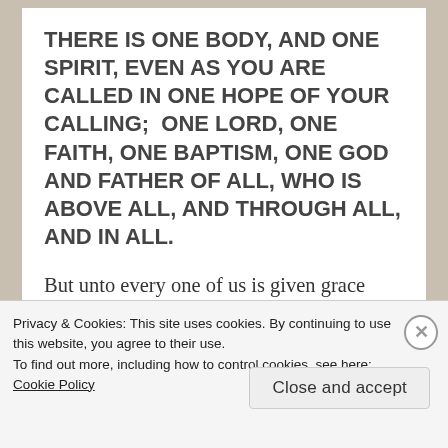THERE IS ONE BODY, AND ONE SPIRIT, EVEN AS YOU ARE CALLED IN ONE HOPE OF YOUR CALLING;  ONE LORD, ONE FAITH, ONE BAPTISM, ONE GOD AND FATHER OF ALL, WHO IS ABOVE ALL, AND THROUGH ALL, AND IN ALL.
But unto every one of us is given grace according to the measure of the gift of Christ.  Wherefore He saith, When he
Privacy & Cookies: This site uses cookies. By continuing to use this website, you agree to their use.
To find out more, including how to control cookies, see here:
Cookie Policy
Close and accept